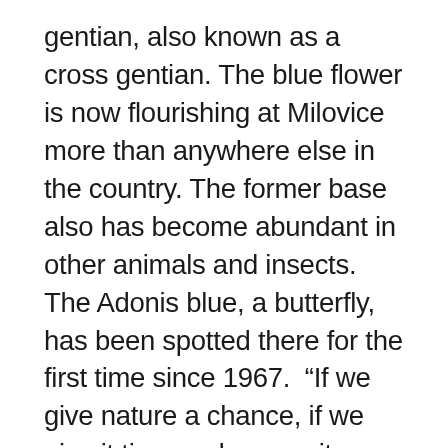gentian, also known as a cross gentian. The blue flower is now flourishing at Milovice more than anywhere else in the country. The former base also has become abundant in other animals and insects. The Adonis blue, a butterfly, has been spotted there for the first time since 1967. “If we give nature a chance, if we give it time and space, it can take care of many things,” said Miloslav Jirku, a biologist with the Czech Academy of Sciences who has been involved in the project from the start. “At the very beginning, I thought that lots of species that used to be here in the 1990s would have to be returned artificially. Today, a number of them